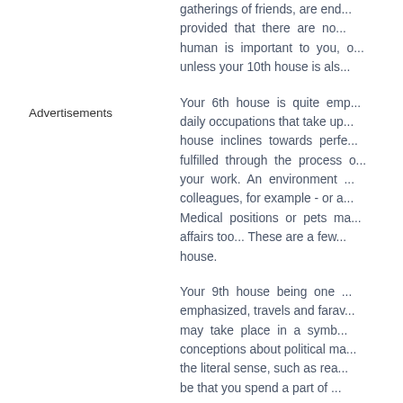gatherings of friends, are end... provided that there are no... human is important to you, o... unless your 10th house is als...
Advertisements
Your 6th house is quite emp... daily occupations that take up... house inclines towards perfe... fulfilled through the process o... your work. An environment ... colleagues, for example - or a... Medical positions or pets ma... affairs too... These are a few... house.
Your 9th house being one ... emphasized, travels and farav... may take place in a symb... conceptions about political ma... the literal sense, such as rea... be that you spend a part of ...